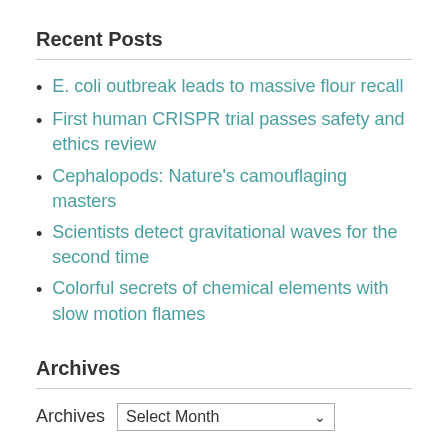Recent Posts
E. coli outbreak leads to massive flour recall
First human CRISPR trial passes safety and ethics review
Cephalopods: Nature's camouflaging masters
Scientists detect gravitational waves for the second time
Colorful secrets of chemical elements with slow motion flames
Archives
Archives  Select Month
Categories
Alternative Energy Sources